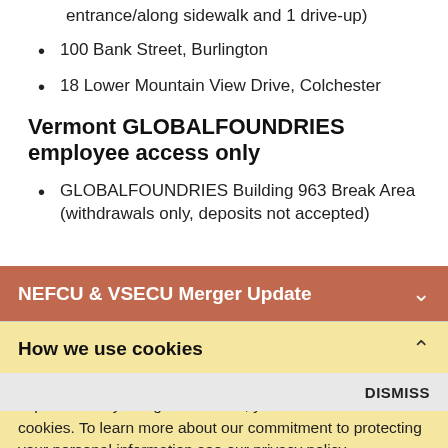entrance/along sidewalk and 1 drive-up)
100 Bank Street, Burlington
18 Lower Mountain View Drive, Colchester
Vermont GLOBALFOUNDRIES employee access only
GLOBALFOUNDRIES Building 963 Break Area (withdrawals only, deposits not accepted)
NEFCU & VSECU Merger Update
Service Center
How we use cookies
This site uses cookies to improve your browsing experience. By using the website, you consent to the use of cookies. To learn more about our commitment to protecting your personal information see our privacy policy.
DISMISS
NEFCU members can enjoy surcharge-free